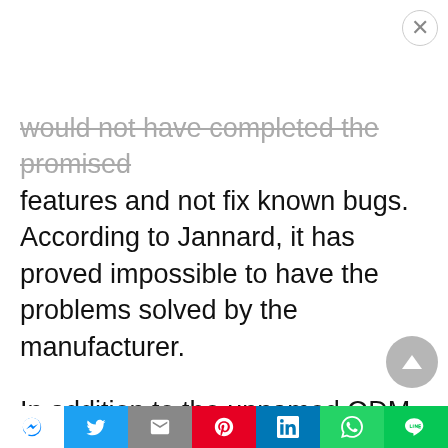would not have completed the promised features and not fix known bugs. According to Jannard, it has proved impossible to have the problems solved by the manufacturer.
In addition to the unnamed ODM, RED also collaborated with Foxconn for the production of the devices. According to the American manufacturer, the collaboration with Foxconn was excellent. Meanwhile, RED has found another ODM that would be more
[Figure (other): Social media share bar at the bottom with icons for Facebook Messenger, Twitter, Gmail, Pinterest, LinkedIn, WhatsApp, and LINE]